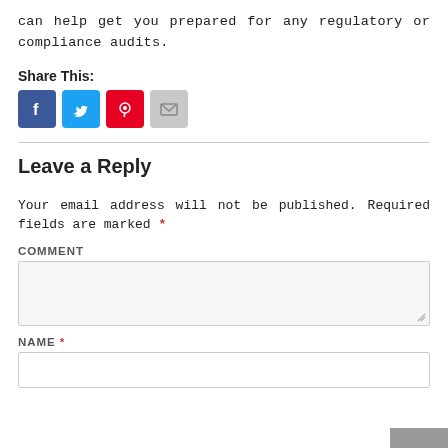can help get you prepared for any regulatory or compliance audits.
Share This:
[Figure (other): Social share icons: Facebook (blue), Twitter (light blue), Pinterest (red), Email (grey)]
Leave a Reply
Your email address will not be published. Required fields are marked *
COMMENT
NAME *